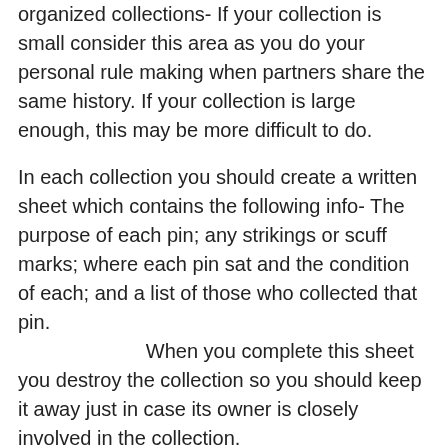organized collections- If your collection is small consider this area as you do your personal rule making when partners share the same history. If your collection is large enough, this may be more difficult to do.
In each collection you should create a written sheet which contains the following info- The purpose of each pin; any strikings or scuff marks; where each pin sat and the condition of each; and a list of those who collected that pin. When you complete this sheet you destroy the collection so you should keep it away just in case its owner is closely involved in the collection.
The “ parasitic” pin is one that has at least 13 of its pins still on the pin head. This would be